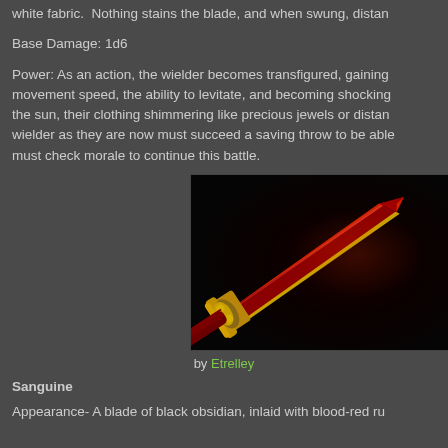white fabric.  Nothing stains the blade, and when swung, distan
Base Damage: 1d6
Power: As an action, the wielder becomes transfigured, gaining movement speed, the ability to levitate, and becoming shocking the sun, their clothing shimmering like precious jewels or distan wielder as they are now must succeed a saving throw to be able must check morale to continue this battle.
[Figure (photo): A red and gold ornate sword/dagger with a deep crimson blade and elaborate golden guard and handle decorations, photographed against a dark background.]
by Etrelley
Sanguine
Appearance- A blade of black obsidian, inlaid with blood-red ru